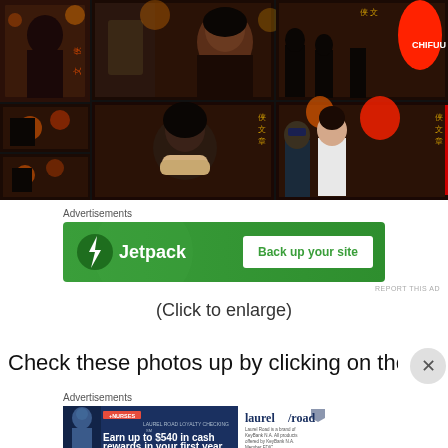[Figure (photo): Grid of 6 photographs showing scenes from what appears to be a Japanese street/alley market at night with lanterns, people walking and taking photos]
Advertisements
[Figure (screenshot): Jetpack advertisement banner with green background showing logo and 'Back up your site' button]
REPORT THIS AD
(Click to enlarge)
Check these photos up by clicking on them. These should
Advertisements
[Figure (screenshot): Laurel Road Loyalty Checking advertisement for nurses - Earn up to $540 in cash rewards in your first year]